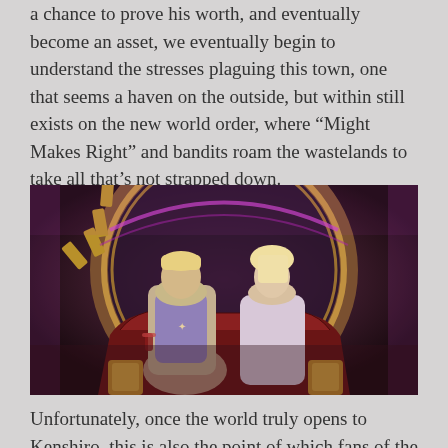a chance to prove his worth, and eventually become an asset, we eventually begin to understand the stresses plaguing this town, one that seems a haven on the outside, but within still exists on the new world order, where “Might Makes Right” and bandits roam the wastelands to take all that’s not strapped down.
[Figure (illustration): Video game art showing two characters seated on a throne-like chair: a muscular blond male in a sleeveless top holding a drink, and a blonde female in a light dress leaning against him, with an ornate circular background featuring gold and purple details and red lighting.]
Unfortunately, once the world truly opens to Kenshiro, this is also the point of which fans of the source series